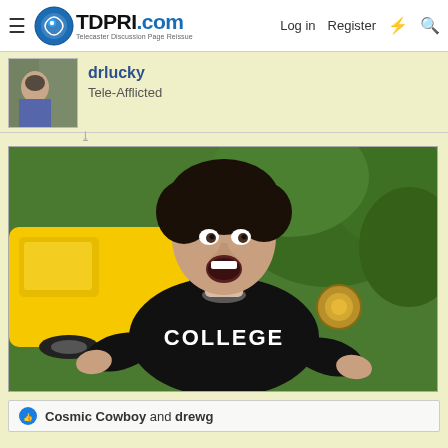TDPRI.com — Telecaster Discussion Page Reissue — Log in  Register
drlucky
Tele-Afflicted
[Figure (photo): Man wearing a black COLLEGE sweatshirt, mouth open in surprise, standing in front of a yellow car and green foliage background.]
Cosmic Cowboy and drewg